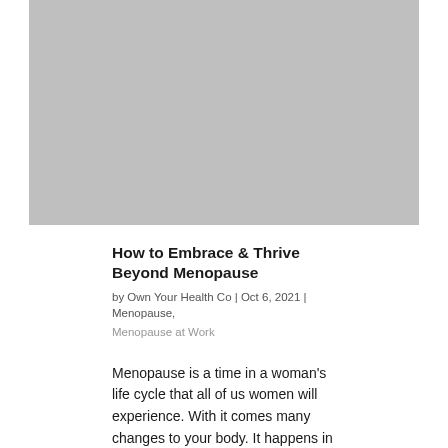[Figure (photo): Large gray placeholder image at the top of the article page]
How to Embrace & Thrive Beyond Menopause
by Own Your Health Co | Oct 6, 2021 | Menopause, Menopause at Work
Menopause is a time in a woman's life cycle that all of us women will experience. With it comes many changes to your body. It happens in the lead up to